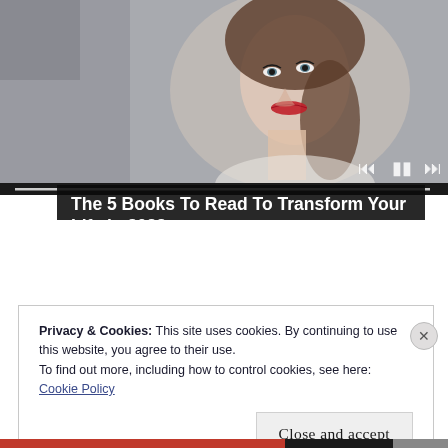[Figure (photo): Screenshot of a video player showing a young woman with dark hair in a ponytail, red lipstick, looking to the side. Video player controls (previous, pause, next) visible. Progress bar shown at bottom of video.]
The 5 Books To Read To Transform Your Life in 2022
Privacy & Cookies: This site uses cookies. By continuing to use this website, you agree to their use.
To find out more, including how to control cookies, see here:
Cookie Policy
Close and accept